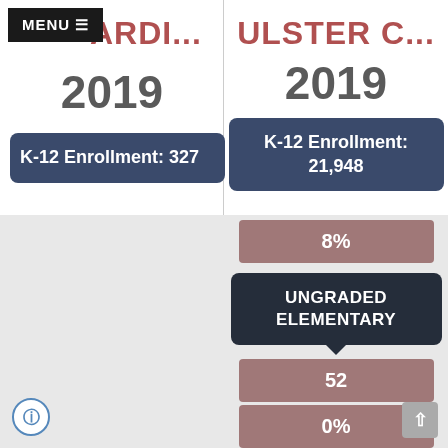MENU ≡
ARDI...
2019
K-12 Enrollment: 327
ULSTER C...
2019
K-12 Enrollment: 21,948
8%
UNGRADED ELEMENTARY
52
0%